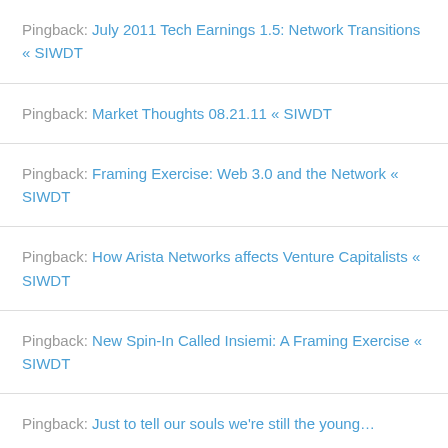Pingback: July 2011 Tech Earnings 1.5: Network Transitions « SIWDT
Pingback: Market Thoughts 08.21.11 « SIWDT
Pingback: Framing Exercise: Web 3.0 and the Network « SIWDT
Pingback: How Arista Networks affects Venture Capitalists « SIWDT
Pingback: New Spin-In Called Insiemi: A Framing Exercise « SIWDT
Pingback: Just to tell our souls we're still the young…